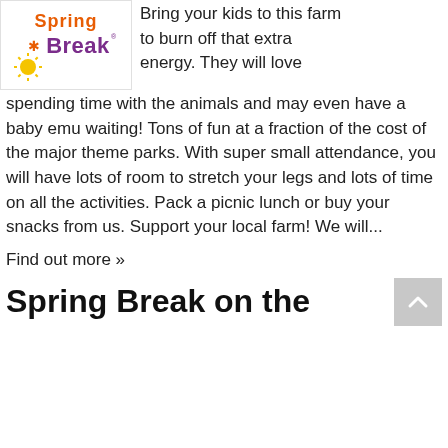[Figure (logo): Spring Break colorful logo with sun graphic]
Bring your kids to this farm to burn off that extra energy. They will love spending time with the animals and may even have a baby emu waiting! Tons of fun at a fraction of the cost of the major theme parks. With super small attendance, you will have lots of room to stretch your legs and lots of time on all the activities. Pack a picnic lunch or buy your snacks from us. Support your local farm! We will...
Find out more »
Spring Break on the